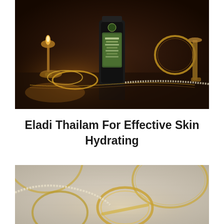[Figure (photo): Dark moody product photograph showing an Eladi Thailam oil bottle (dark cylindrical container with green label) surrounded by a lit brass oil lamp, gold bangles and jewelry chains, and brass decorative objects arranged on a reflective dark surface.]
Eladi Thailam For Effective Skin Hydrating
[Figure (photo): Close-up photograph of gold circular bangles and a pearl/bead necklace arranged on a light grey textured fabric or surface, with soft warm lighting creating gentle shadows.]